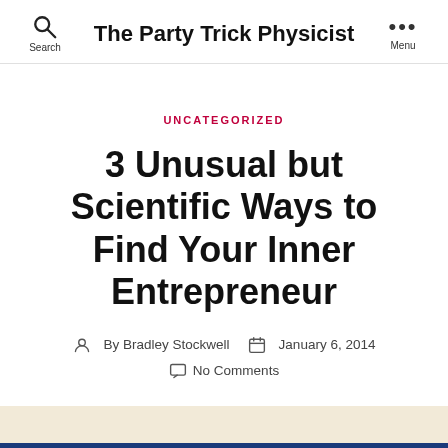The Party Trick Physicist
UNCATEGORIZED
3 Unusual but Scientific Ways to Find Your Inner Entrepreneur
By Bradley Stockwell   January 6, 2014
No Comments